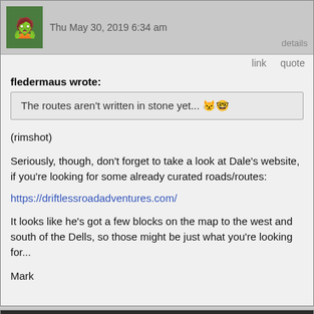Thu May 30, 2019 6:34 am
link   quote
fledermaus wrote:
The routes aren't written in stone yet... 😾🤓
(rimshot)
Seriously, though, don't forget to take a look at Dale's website, if you're looking for some already curated roads/routes:
https://driftlessroadadventures.com/
It looks like he's got a few blocks on the map to the west and south of the Dells, so those might be just what you're looking for...
Mark
fledermaus
Thu May 30, 2019 7:04 am